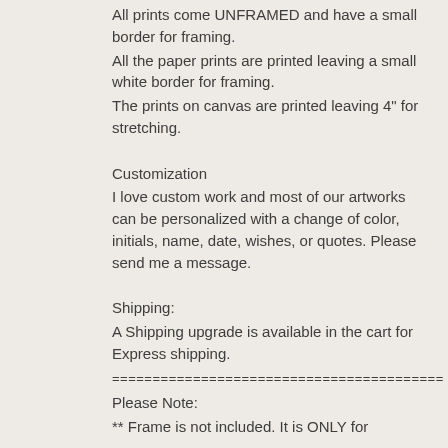All prints come UNFRAMED and have a small border for framing.
All the paper prints are printed leaving a small white border for framing.
The prints on canvas are printed leaving 4" for stretching.
Customization
I love custom work and most of our artworks can be personalized with a change of color, initials, name, date, wishes, or quotes. Please send me a message.
Shipping:
A Shipping upgrade is available in the cart for Express shipping.
=========================================
Please Note:
** Frame is not included. It is ONLY for